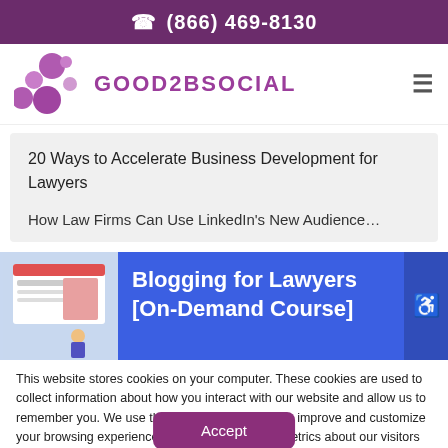(866) 469-8130
[Figure (logo): Good2BSocial logo with purple bubble clusters and purple text GOOD2BSOCIAL]
20 Ways to Accelerate Business Development for Lawyers
How Law Firms Can Use LinkedIn's New Audience…
[Figure (screenshot): Blogging for Lawyers [On-Demand Course] promo banner with blue background and small website screenshot thumbnail]
This website stores cookies on your computer. These cookies are used to collect information about how you interact with our website and allow us to remember you. We use this information in order to improve and customize your browsing experience and for analytics and metrics about our visitors both on this website and other media. To find out more about the cookies we use, see our Privacy Policy.
Accept